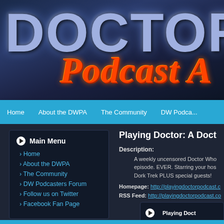[Figure (screenshot): Website banner with 'DOCTOR' in large silver/blue text and 'Podcast A' in orange cursive italic text on a dark blue background]
Home   About the DWPA   The Community   DW Podcasters Forum
Main Menu
Home
About the DWPA
The Community
DW Podcasters Forum
Follow us on Twitter
Facebook Fan Page
Playing Doctor: A Doct
Description: A weekly uncensored Doctor Who episode. EVER. Starring your host Dork Trek PLUS special guests!
Homepage: http://playingdoctorpodcast.c
RSS Feed: http://playingdoctorpodcast.co
Playing Doct